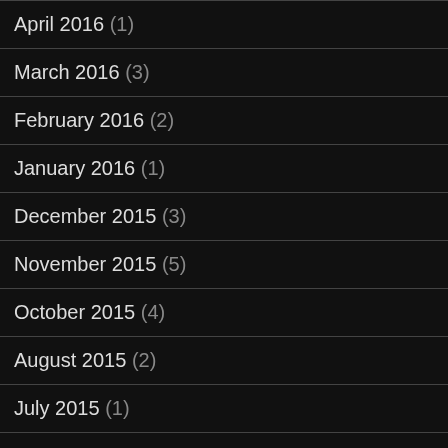April 2016 (1)
March 2016 (3)
February 2016 (2)
January 2016 (1)
December 2015 (3)
November 2015 (5)
October 2015 (4)
August 2015 (2)
July 2015 (1)
June 2015 (4)
May 2015 (1)
April 2015 (2)